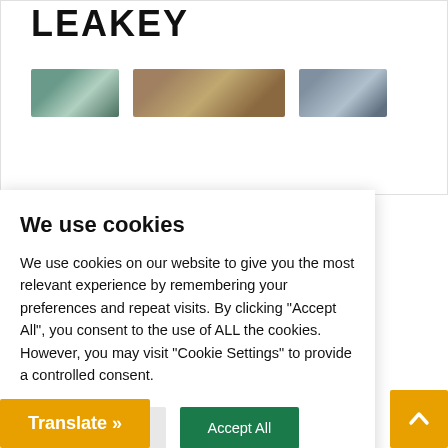LEAKEY
[Figure (photo): Three thumbnail images in a horizontal strip — left: outdoor/nature scene in green tones; middle: wider landscape/scene in brown/amber tones; right: another outdoor scene in blue-grey tones]
neral,
)STI) held
l Leakey
ne USA
tendance
of
y
ama –
We use cookies
We use cookies on our website to give you the most relevant experience by remembering your preferences and repeat visits. By clicking "Accept All", you consent to the use of ALL the cookies. However, you may visit "Cookie Settings" to provide a controlled consent.
Cookie Settings
Accept All
Translate »